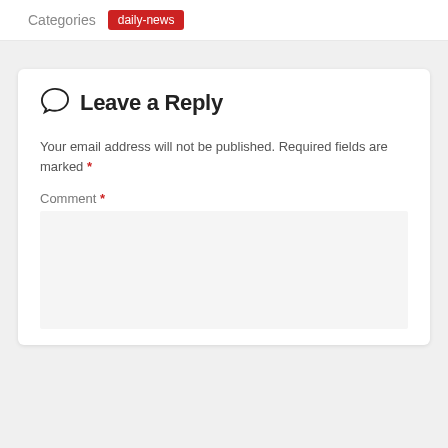Categories  daily-news
Leave a Reply
Your email address will not be published. Required fields are marked *
Comment *